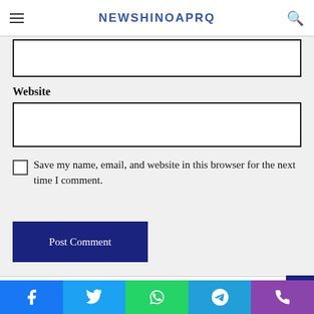NEWSHINOAPRQ
Website
Save my name, email, and website in this browser for the next time I comment.
Post Comment
Featured Posts